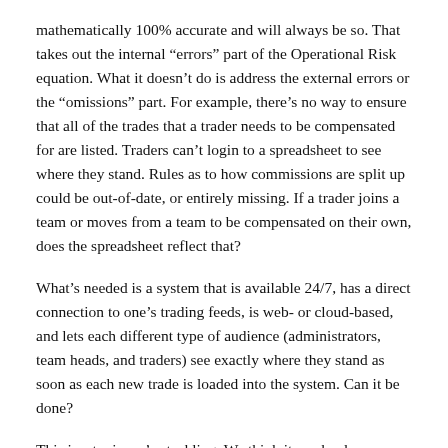mathematically 100% accurate and will always be so. That takes out the internal “errors” part of the Operational Risk equation. What it doesn’t do is address the external errors or the “omissions” part. For example, there’s no way to ensure that all of the trades that a trader needs to be compensated for are listed. Traders can’t login to a spreadsheet to see where they stand. Rules as to how commissions are split up could be out-of-date, or entirely missing. If a trader joins a team or moves from a team to be compensated on their own, does the spreadsheet reflect that?
What’s needed is a system that is available 24/7, has a direct connection to one’s trading feeds, is web- or cloud-based, and lets each different type of audience (administrators, team heads, and traders) see exactly where they stand as soon as each new trade is loaded into the system. Can it be done?
This is a topic we’re tackling. We think it can be done.